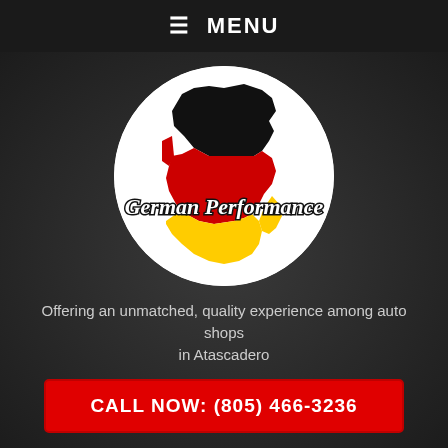≡ MENU
[Figure (logo): German Performance logo: circular white background with Germany map silhouette in black, red, and yellow/gold vertical stripes, with italic text 'German Performance']
Offering an unmatched, quality experience among auto shops in Atascadero
CALL NOW: (805) 466-3236
Home » Articles by: ricks-german-performance
Author Archives: